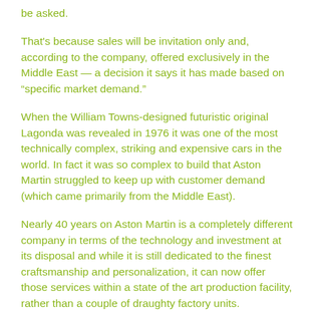be asked.
That's because sales will be invitation only and, according to the company, offered exclusively in the Middle East — a decision it says it has made based on “specific market demand.”
When the William Towns-designed futuristic original Lagonda was revealed in 1976 it was one of the most technically complex, striking and expensive cars in the world. In fact it was so complex to build that Aston Martin struggled to keep up with customer demand (which came primarily from the Middle East).
Nearly 40 years on Aston Martin is a completely different company in terms of the technology and investment at its disposal and while it is still dedicated to the finest craftsmanship and personalization, it can now offer those services within a state of the art production facility, rather than a couple of draughty factory units.
Specific details about what prospective owners can